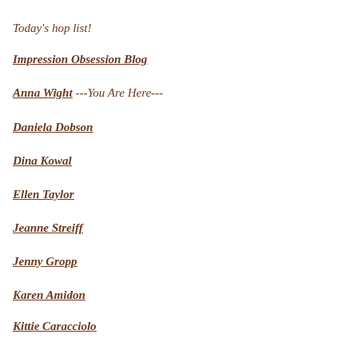Today's hop list!
Impression Obsession Blog
Anna Wight ---You Are Here---
Daniela Dobson
Dina Kowal
Ellen Taylor
Jeanne Streiff
Jenny Gropp
Karen Amidon
Kittie Caracciolo
Laura Fulcher
Vicki Garrett